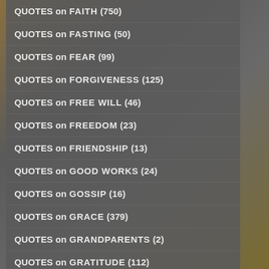QUOTES on FAITH (750)
QUOTES on FASTING (50)
QUOTES on FEAR (99)
QUOTES on FORGIVENESS (125)
QUOTES on FREE WILL (46)
QUOTES on FREEDOM (23)
QUOTES on FRIENDSHIP (13)
QUOTES on GOOD WORKS (24)
QUOTES on GOSSIP (16)
QUOTES on GRACE (379)
QUOTES on GRANDPARENTS (2)
QUOTES on GRATITUDE (112)
QUOTES on GREED, WEALTH (28)